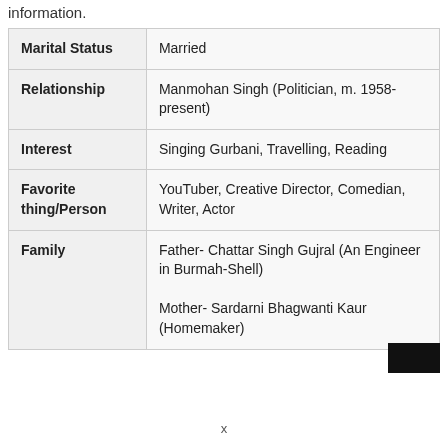information.
|  |  |
| --- | --- |
| Marital Status | Married |
| Relationship | Manmohan Singh (Politician, m. 1958-present) |
| Interest | Singing Gurbani, Travelling, Reading |
| Favorite thing/Person | YouTuber, Creative Director, Comedian, Writer, Actor |
| Family | Father- Chattar Singh Gujral (An Engineer in Burmah-Shell)
Mother- Sardarni Bhagwanti Kaur (Homemaker) |